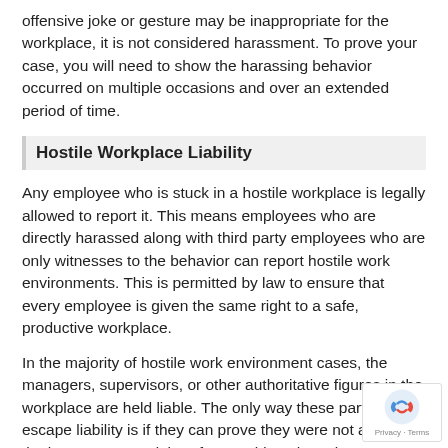offensive joke or gesture may be inappropriate for the workplace, it is not considered harassment. To prove your case, you will need to show the harassing behavior occurred on multiple occasions and over an extended period of time.
Hostile Workplace Liability
Any employee who is stuck in a hostile workplace is legally allowed to report it. This means employees who are directly harassed along with third party employees who are only witnesses to the behavior can report hostile work environments. This is permitted by law to ensure that every employee is given the same right to a safe, productive workplace.
In the majority of hostile work environment cases, the managers, supervisors, or other authoritative figures in the workplace are held liable. The only way these parties can escape liability is if they can prove they were not aware of the harassment and therefore could not have been expected to do anything to stop it.